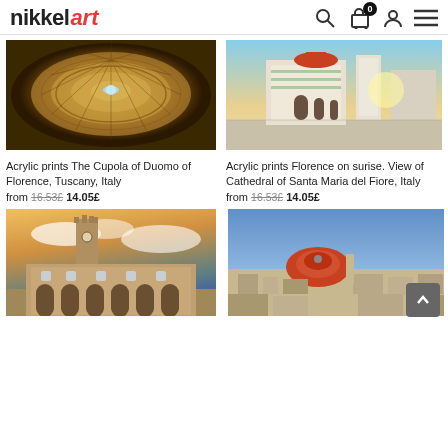Nikkel Art — logo and navigation icons with search, cart (0), account, menu
[Figure (photo): Overhead view of the ornate painted ceiling of the Cupola of Duomo of Florence, circular fresco with golden tones]
[Figure (photo): Florence Cathedral of Santa Maria del Fiore at sunrise, wide-angle street view with bright sunlight]
Acrylic prints The Cupola of Duomo of Florence, Tuscany, Italy
from 16.53£ 14.05£
Acrylic prints Florence on surise. View of Cathedral of Santa Maria del Fiore, Italy
from 16.53£ 14.05£
[Figure (photo): Palazzo Vecchio tower and facade at dusk with dramatic sky in Florence, Italy]
[Figure (photo): Aerial view of Florence cityscape with the Duomo dome prominently visible, Italy]